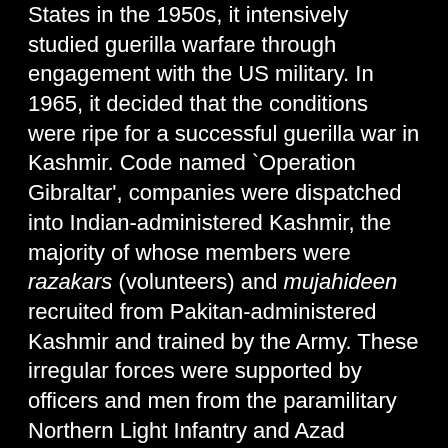States in the 1950s, it intensively studied guerilla warfare through engagement with the US military. In 1965, it decided that the conditions were ripe for a successful guerilla war in Kashmir. Code named `Operation Gibraltar', companies were dispatched into Indian-administered Kashmir, the majority of whose members were razakars (volunteers) and mujahideen recruited from Pakitan-administered Kashmir and trained by the Army. These irregular forces were supported by officers and men from the paramilitary Northern Light Infantry and Azad Kashmir Rifles as well as commandos from the Special Services Group. About 30,000 infiltrators are estimated to have been dispatched in August 1965 as part of the `Operation Gibraltar'.
The plan was for the infiltrators to mingle with the local populace and incite them to rebellion...